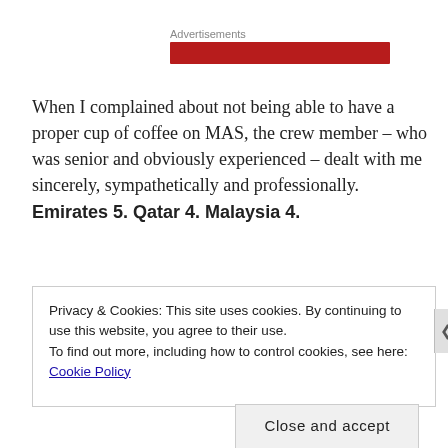[Figure (other): Advertisements label with a red bar below it]
When I complained about not being able to have a proper cup of coffee on MAS, the crew member – who was senior and obviously experienced – dealt with me sincerely, sympathetically and professionally.
Emirates 5. Qatar 4. Malaysia 4.
Privacy & Cookies: This site uses cookies. By continuing to use this website, you agree to their use.
To find out more, including how to control cookies, see here: Cookie Policy
Close and accept